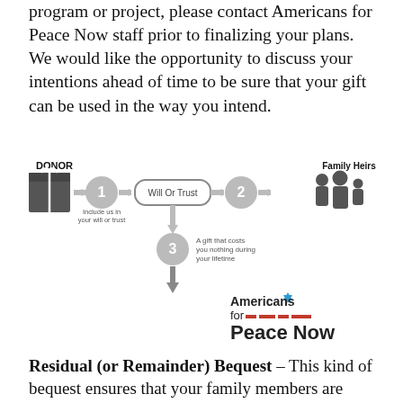program or project, please contact Americans for Peace Now staff prior to finalizing your plans. We would like the opportunity to discuss your intentions ahead of time to be sure that your gift can be used in the way you intend.
[Figure (flowchart): Flowchart showing: DONOR (gift icon) -> 1 (Include us in your will or trust) -> Will Or Trust box -> 2 -> Family Heirs (family silhouette). Will Or Trust -> 3 (A gift that costs you nothing during your lifetime) -> Americans for Peace Now logo.]
Residual (or Remainder) Bequest – This kind of bequest ensures that your family members are